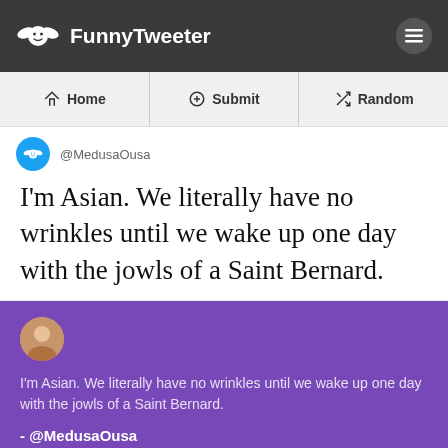FunnyTweeter
[Figure (screenshot): Navigation bar with Home, Submit, Random links]
@MedusaOusa
I'm Asian. We literally have no wrinkles until we wake up one day with the jowls of a Saint Bernard.
[Figure (screenshot): Purple social media share card with tweet text and handle @MedusaOusa and funnytweeter.com watermark]